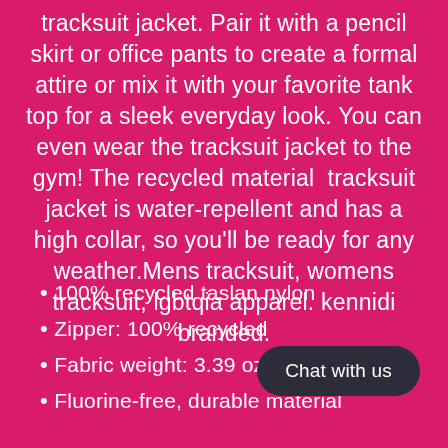tracksuit jacket. Pair it with a pencil skirt or office pants to create a formal attire or mix it with your favorite tank top for a sleek everyday look. You can even wear the tracksuit jacket to the gym! The recycled material  tracksuit jacket is water-repellent and has a high collar, so you'll be ready for any weather.Mens tracksuit, womens tracksuit, lgbtqia apparel. kennidi branded.
100% recycled taslan nylon
Zipper: 100% recycled...
Fabric weight: 3.39 oz/y...
Fluorine-free, durable material